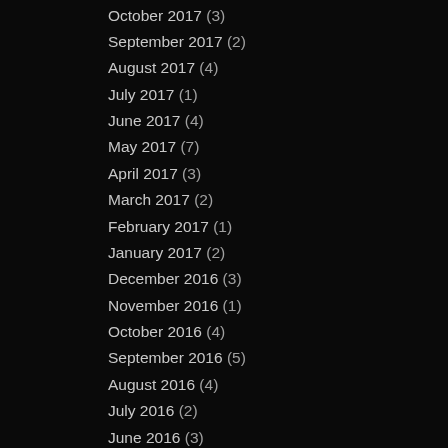October 2017 (3)
September 2017 (2)
August 2017 (4)
July 2017 (1)
June 2017 (4)
May 2017 (7)
April 2017 (3)
March 2017 (2)
February 2017 (1)
January 2017 (2)
December 2016 (3)
November 2016 (1)
October 2016 (4)
September 2016 (5)
August 2016 (4)
July 2016 (2)
June 2016 (3)
May 2016 (5)
April 2016 (1)
March 2016 (4)
February 2016 (4)
January 2016 (1)
December 2015 (2)
November 2015 (3)